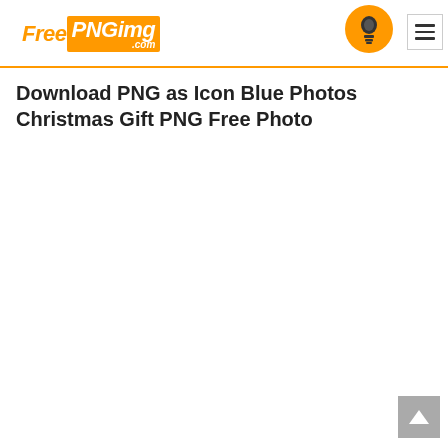FreePNGimg.com
Download PNG as Icon Blue Photos Christmas Gift PNG Free Photo